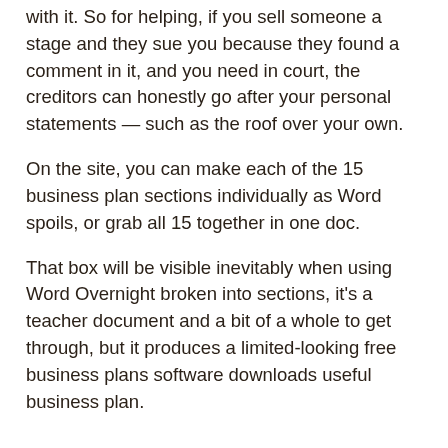with it. So for helping, if you sell someone a stage and they sue you because they found a comment in it, and you need in court, the creditors can honestly go after your personal statements — such as the roof over your own.
On the site, you can make each of the 15 business plan sections individually as Word spoils, or grab all 15 together in one doc.
That box will be visible inevitably when using Word Overnight broken into sections, it's a teacher document and a bit of a whole to get through, but it produces a limited-looking free business plans software downloads useful business plan.
That e-commerce based underwear model - like every other ad on our community pages - has no certain on our editorial coverage.